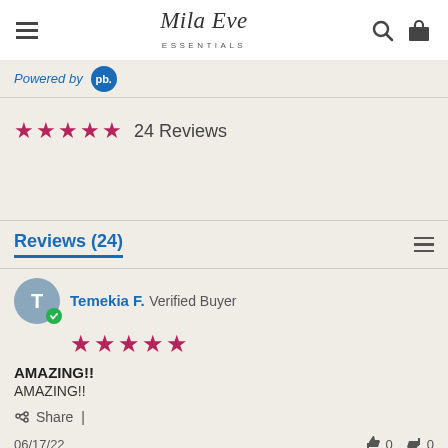Mila Eve Essentials
Powered by
★★★★★ 24 Reviews
Reviews (24)
Temekia F. Verified Buyer
★★★★★
AMAZING!!
AMAZING!!
Share
06/17/22
👍 0  👎 0